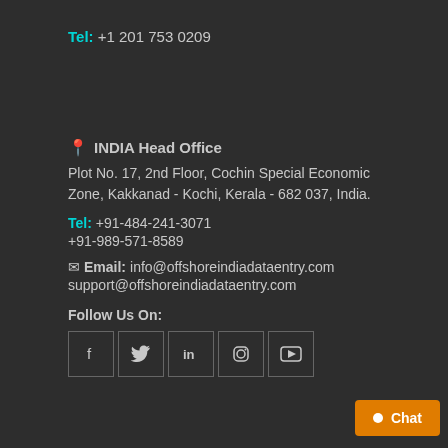Tel: +1 201 753 0209
INDIA Head Office
Plot No. 17, 2nd Floor, Cochin Special Economic Zone, Kakkanad - Kochi, Kerala - 682 037, India.
Tel: +91-484-241-3071
+91-989-571-8589
Email: info@offshoreindiadataentry.com
support@offshoreindiadataentry.com
Follow Us On:
[Figure (infographic): Five social media icon boxes: Facebook (f), Twitter (bird), LinkedIn (in), Instagram (camera), YouTube (play button)]
Chat